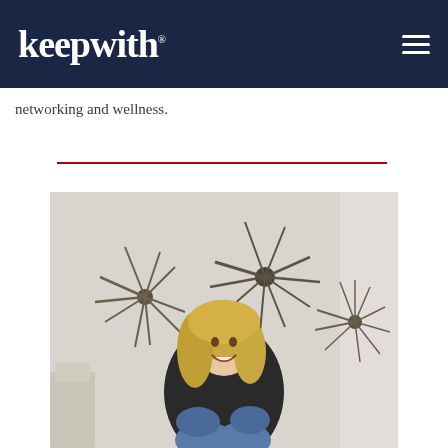keepwith
networking and wellness.
[Figure (photo): A smiling woman with blonde hair sitting casually, wearing a black top and jeans, with sputnik-style metallic wall decorations behind her on a light gray wall. A lamp is partially visible on the left.]